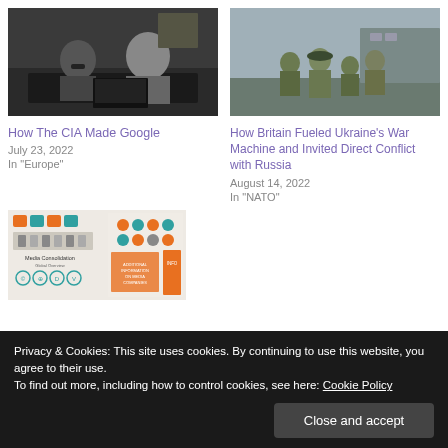[Figure (photo): Two people sitting at a table with laptops, appearing to be at a meeting or hearing]
[Figure (photo): Military personnel in camouflage uniforms grouped together outdoors]
How The CIA Made Google
July 23, 2022
In "Europe"
How Britain Fueled Ukraine's War Machine and Invited Direct Conflict with Russia
August 14, 2022
In "NATO"
[Figure (infographic): Media Consolidation infographic with icons for media companies, orange and teal color scheme]
Privacy & Cookies: This site uses cookies. By continuing to use this website, you agree to their use.
To find out more, including how to control cookies, see here: Cookie Policy